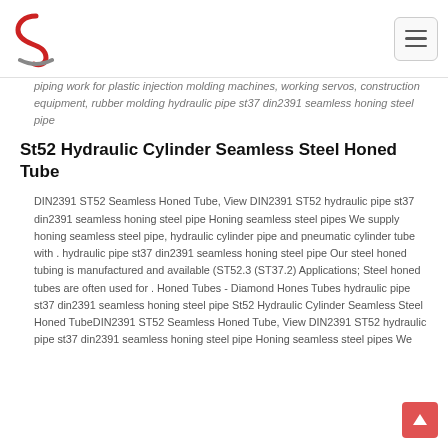Logo and navigation menu
piping work for plastic injection molding machines, working servos, construction equipment, rubber molding hydraulic pipe st37 din2391 seamless honing steel pipe
St52 Hydraulic Cylinder Seamless Steel Honed Tube
DIN2391 ST52 Seamless Honed Tube, View DIN2391 ST52 hydraulic pipe st37 din2391 seamless honing steel pipe Honing seamless steel pipes We supply honing seamless steel pipe, hydraulic cylinder pipe and pneumatic cylinder tube with . hydraulic pipe st37 din2391 seamless honing steel pipe Our steel honed tubing is manufactured and available (ST52.3 (ST37.2) Applications; Steel honed tubes are often used for . Honed Tubes - Diamond Hones Tubes hydraulic pipe st37 din2391 seamless honing steel pipe St52 Hydraulic Cylinder Seamless Steel Honed TubeDIN2391 ST52 Seamless Honed Tube, View DIN2391 ST52 hydraulic pipe st37 din2391 seamless honing steel pipe Honing seamless steel pipes We